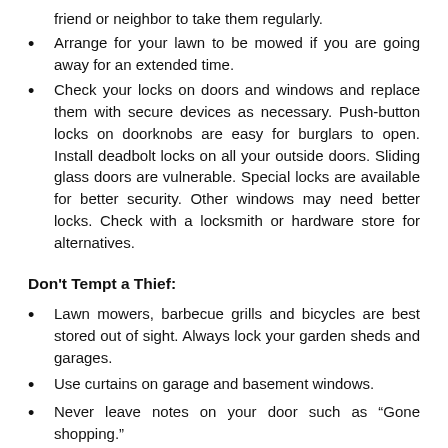friend or neighbor to take them regularly.
Arrange for your lawn to be mowed if you are going away for an extended time.
Check your locks on doors and windows and replace them with secure devices as necessary. Push-button locks on doorknobs are easy for burglars to open. Install deadbolt locks on all your outside doors. Sliding glass doors are vulnerable. Special locks are available for better security. Other windows may need better locks. Check with a locksmith or hardware store for alternatives.
Don't Tempt a Thief:
Lawn mowers, barbecue grills and bicycles are best stored out of sight. Always lock your garden sheds and garages.
Use curtains on garage and basement windows.
Never leave notes on your door such as “Gone shopping.”
Locks…Get the Best!!!!!!